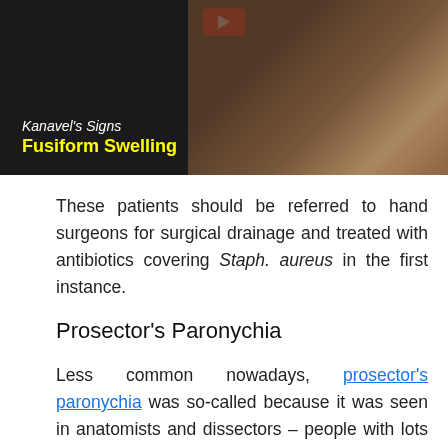[Figure (screenshot): Video thumbnail showing a hand examination demonstrating Kanavel's Signs - Fusiform Swelling, with a red YouTube play button at top center, italic white text 'Kanavel's Signs' and bold yellow text 'Fusiform Swelling' overlaid on dark background with hand image.]
These patients should be referred to hand surgeons for surgical drainage and treated with antibiotics covering Staph. aureus in the first instance.
Prosector's Paronychia
Less common nowadays, prosector's paronychia was so-called because it was seen in anatomists and dissectors – people with lots of hand-in-corpse time. It might present as a chronic, painless paronychia more visually in-keeping with the acute type and/or refractory to acute paronychia treatment. The